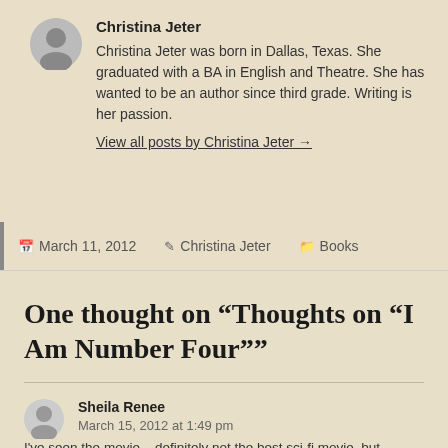Christina Jeter
Christina Jeter was born in Dallas, Texas. She graduated with a BA in English and Theatre. She has wanted to be an author since third grade. Writing is her passion.
View all posts by Christina Jeter →
March 11, 2012  Christina Jeter  Books
One thought on “Thoughts on “I Am Number Four””
Sheila Renee
March 15, 2012 at 1:49 pm
I've seen the movie – definitely not the best sci-fi movie, but certainly